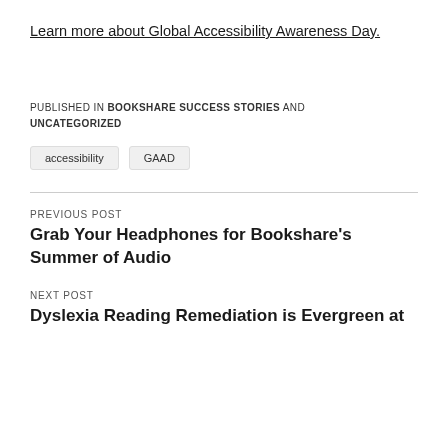Learn more about Global Accessibility Awareness Day.
PUBLISHED IN BOOKSHARE SUCCESS STORIES AND UNCATEGORIZED
accessibility
GAAD
PREVIOUS POST
Grab Your Headphones for Bookshare’s Summer of Audio
NEXT POST
Dyslexia Reading Remediation is Evergreen at